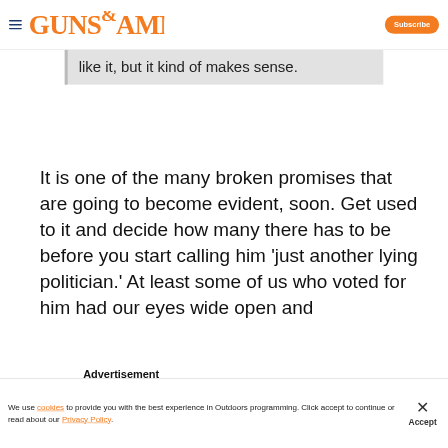Guns & Ammo — Subscribe
like it, but it kind of makes sense.
It is one of the many broken promises that are going to become evident, soon. Get used to it and decide how many there has to be before you start calling him 'just another lying politician.' At least some of us who voted for him had our eyes wide open and
[Figure (screenshot): Advertisement banner showing a rifle/shooting-related image with 'Advertisement' label, close button (X), and expand arrow button in orange]
We use cookies to provide you with the best experience in Outdoors programming. Click accept to continue or read about our Privacy Policy.